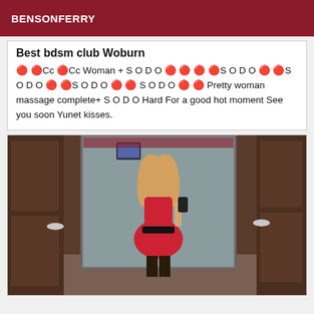BENSONFERRY
Best bdsm club Woburn

🔴🔴Cc 🔴Cc Woman + S O D O 🔴🔴🔴🔴S O D O 🔴🔴S O D O 🔴🔴S O D O 🔴🔴 S O D O 🔴🔴 Pretty woman massage complete+ S O D O Hard For a good hot moment See you soon Yunet kisses.
[Figure (photo): Photo of a woman in a red outfit taking a mirror selfie in a room with wooden doors.]